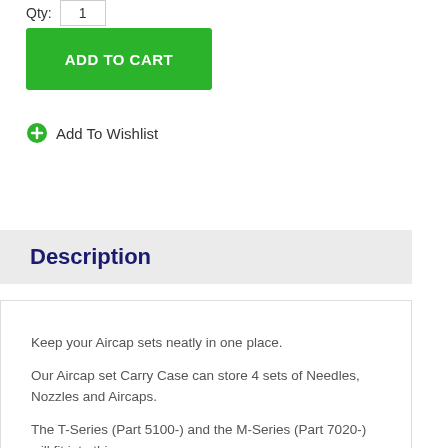Qty: 1
ADD TO CART
Add To Wishlist
Description
Keep your Aircap sets neatly in one place.
Our Aircap set Carry Case can store 4 sets of Needles, Nozzles and Aircaps.
The T-Series (Part 5100-) and the M-Series (Part 7020-) will fit into this case.
Please note that the GYPC Series